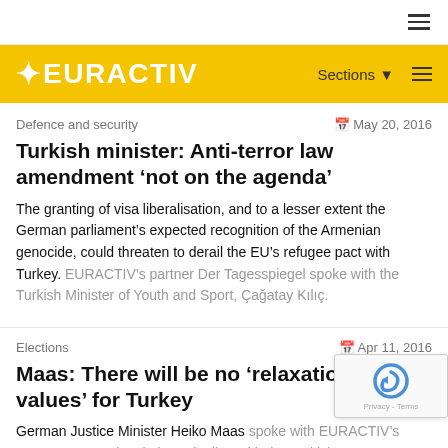EURACTIV — Sections (navigation bar)
Defence and security | May 20, 2016
Turkish minister: Anti-terror law amendment 'not on the agenda'
The granting of visa liberalisation, and to a lesser extent the German parliament's expected recognition of the Armenian genocide, could threaten to derail the EU's refugee pact with Turkey. EURACTIV's partner Der Tagesspiegel spoke with the Turkish Minister of Youth and Sport, Çağatay Kılıç.
Elections | Apr 11, 2016
Maas: There will be no 'relaxation of values' for Turkey
German Justice Minister Heiko Maas spoke with EURACTIV's partner Tagesspiegel about dealing with the Turkish...